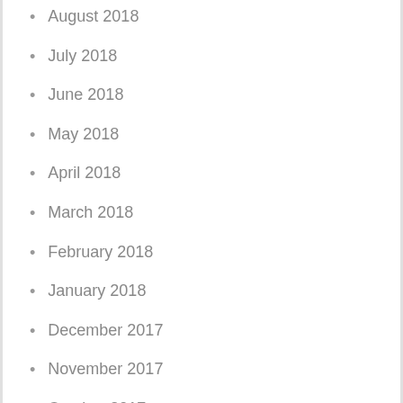August 2018
July 2018
June 2018
May 2018
April 2018
March 2018
February 2018
January 2018
December 2017
November 2017
October 2017
September 2017